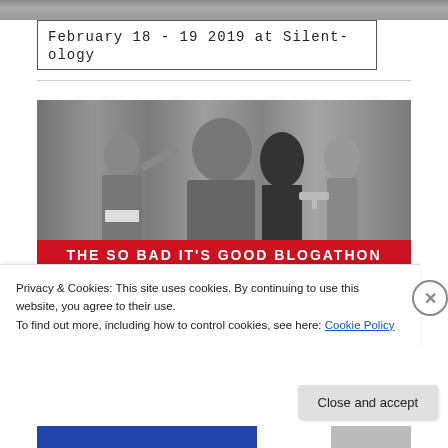[Figure (photo): Decorative top strip - partial image at very top of page]
February 18 - 19  2019  at  Silent-ology
[Figure (photo): Black and white still from a film showing actors on a stage with curtain backdrop. One man in a superhero-style costume, a large man in a suit, and a woman holding a gun. Red banner reads THE SO BAD IT'S GOOD BLOGATHON. Blue banner below reads HOSTED BY TAKING UP ROOM.]
Privacy & Cookies: This site uses cookies. By continuing to use this website, you agree to their use.
To find out more, including how to control cookies, see here: Cookie Policy
Close and accept